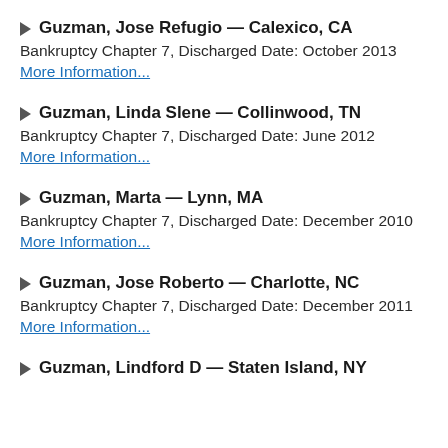▶ Guzman, Jose Refugio — Calexico, CA
Bankruptcy Chapter 7, Discharged Date: October 2013
More Information...
▶ Guzman, Linda Slene — Collinwood, TN
Bankruptcy Chapter 7, Discharged Date: June 2012
More Information...
▶ Guzman, Marta — Lynn, MA
Bankruptcy Chapter 7, Discharged Date: December 2010
More Information...
▶ Guzman, Jose Roberto — Charlotte, NC
Bankruptcy Chapter 7, Discharged Date: December 2011
More Information...
▶ Guzman, Lindford D — Staten Island, NY